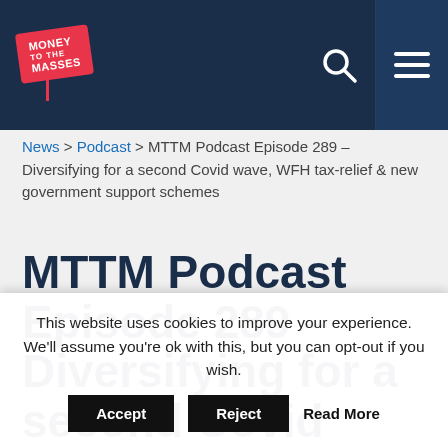Money to the Masses — navigation header with logo, search and menu icons
News > Podcast > MTTM Podcast Episode 289 – Diversifying for a second Covid wave, WFH tax-relief & new government support schemes
MTTM Podcast Episode 289 – Diversifying for a second Covid wave, WFH tax-relief & new government support
This website uses cookies to improve your experience. We'll assume you're ok with this, but you can opt-out if you wish.
Accept  Reject  Read More